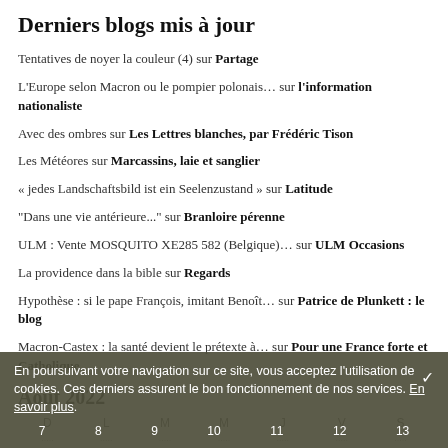Derniers blogs mis à jour
Tentatives de noyer la couleur (4) sur Partage
L'Europe selon Macron ou le pompier polonais… sur l'information nationaliste
Avec des ombres sur Les Lettres blanches, par Frédéric Tison
Les Météores sur Marcassins, laie et sanglier
« jedes Landschaftsbild ist ein Seelenzustand » sur Latitude
"Dans une vie antérieure..." sur Branloire pérenne
ULM : Vente MOSQUITO XE285 582 (Belgique)… sur ULM Occasions
La providence dans la bible sur Regards
Hypothèse : si le pape François, imitant Benoît… sur Patrice de Plunkett : le blog
Macron-Castex : la santé devient le prétexte à… sur Pour une France forte et Catholique
Août 2022
| D | L | M | M | J | V | S |
| --- | --- | --- | --- | --- | --- | --- |
|  |  |  |  |  |  |  |
| 7 | 8 | 9 | 10 | 11 | 12 | 13 |
En poursuivant votre navigation sur ce site, vous acceptez l'utilisation de cookies. Ces derniers assurent le bon fonctionnement de nos services. En savoir plus.